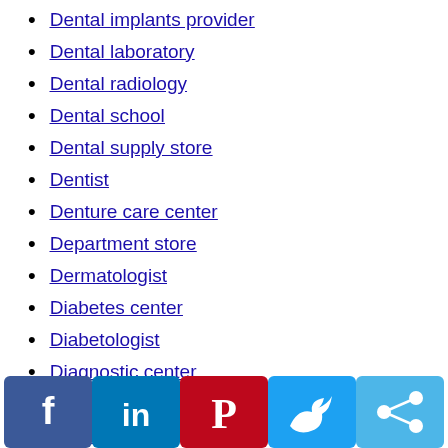Dental implants provider
Dental laboratory
Dental radiology
Dental school
Dental supply store
Dentist
Denture care center
Department store
Dermatologist
Diabetes center
Diabetologist
Diagnostic center
Dietitian
Disability support organization
[Figure (other): Social sharing bar with Facebook, LinkedIn, Pinterest, Twitter, and share icons]